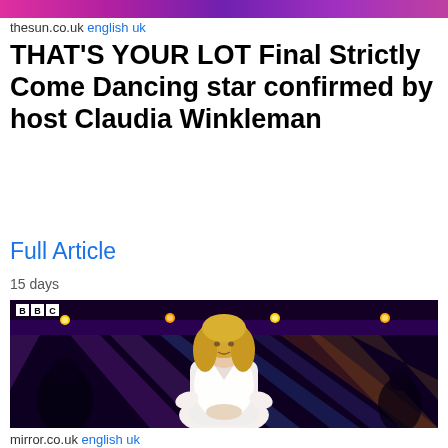[Figure (photo): Top colorful banner strip with pink/purple gradient]
thesun.co.uk english uk
THAT'S YOUR LOT Final Strictly Come Dancing star confirmed by host Claudia Winkleman
Full Article
15 days
[Figure (photo): A blonde woman in a white outfit standing on the Strictly Come Dancing stage with purple and blue stage lighting and BBC logo visible in top left corner]
mirror.co.uk english uk